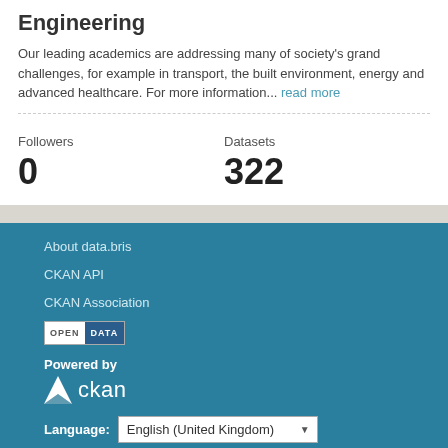Engineering
Our leading academics are addressing many of society's grand challenges, for example in transport, the built environment, energy and advanced healthcare. For more information... read more
Followers
0
Datasets
322
About data.bris
CKAN API
CKAN Association
[Figure (logo): Open Data badge with OPEN DATA text]
Powered by
[Figure (logo): CKAN logo with triangle icon]
Language: English (United Kingdom)